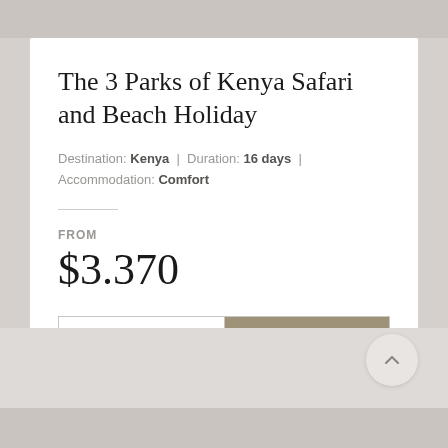The 3 Parks of Kenya Safari and Beach Holiday
Destination: Kenya  |  Duration: 16 days  |  Accommodation: Comfort
FROM
$3.370
SEND ENQUIRY
EXPLORE